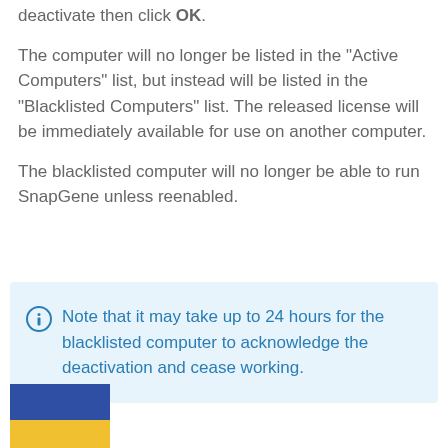deactivate then click OK.
The computer will no longer be listed in the "Active Computers" list, but instead will be listed in the "Blacklisted Computers" list. The released license will be immediately available for use on another computer.
The blacklisted computer will no longer be able to run SnapGene unless reenabled.
Note that it may take up to 24 hours for the blacklisted computer to acknowledge the deactivation and cease working.
[Figure (illustration): Ukrainian flag — blue rectangle over yellow rectangle]